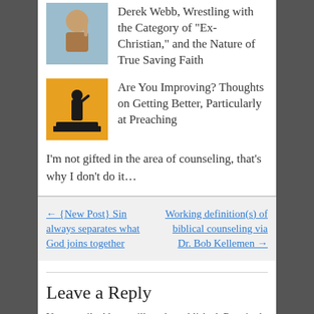[Figure (photo): Small thumbnail photo of a person (Derek Webb related article)]
Derek Webb, Wrestling with the Category of “Ex-Christian,” and the Nature of True Saving Faith
[Figure (illustration): Small thumbnail illustration of a preacher silhouette on orange/yellow background]
Are You Improving? Thoughts on Getting Better, Particularly at Preaching
I’m not gifted in the area of counseling, that’s why I don’t do it…
← {New Post} Sin always separates what God joins together
Working definition(s) of biblical counseling via Dr. Bob Kellemen →
Leave a Reply
Your email address will not be published. Required fields are marked *